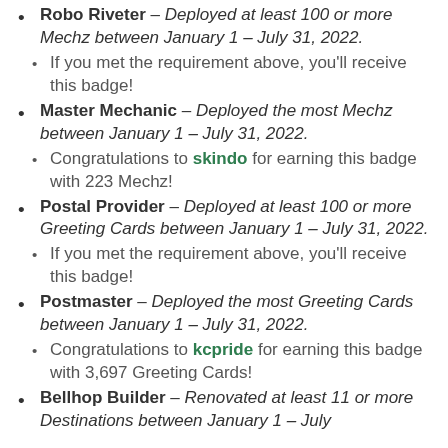Robo Riveter – Deployed at least 100 or more Mechz between January 1 – July 31, 2022.
If you met the requirement above, you'll receive this badge!
Master Mechanic – Deployed the most Mechz between January 1 – July 31, 2022.
Congratulations to skindo for earning this badge with 223 Mechz!
Postal Provider – Deployed at least 100 or more Greeting Cards between January 1 – July 31, 2022.
If you met the requirement above, you'll receive this badge!
Postmaster – Deployed the most Greeting Cards between January 1 – July 31, 2022.
Congratulations to kcpride for earning this badge with 3,697 Greeting Cards!
Bellhop Builder – Renovated at least 11 or more Destinations between January 1 – July…